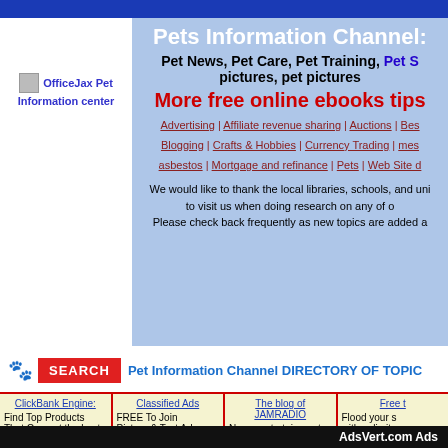Pets Information Channel:
Pet News, Pet Care, Pet Training, Pet S... pictures, pet pictures
More free online ebooks tips
Advertising | Affiliate revenue sharing | Auctions | Bes... Blogging | Crafts & Hobbies | Currency Trading | mes... asbestos | Mortgage and refinance | Pets | Web Site d...
We would like to thank the local libraries, schools, and uni... to visit us when doing research on any of o... Please check back frequently as new topics are added a...
[Figure (logo): OfficeJax Pet Information center logo]
Pet Information Channel DIRECTORY OF TOPIC...
ClickBank Engine:
Find Top Products
That Convert the best
Classified Ads
FREE To Join
Picture & Text Ads
Many Options Available
The blog of JAMRADIO
News, entertainment, Music and new posts every day
Free t...
Flood your s... with unlimite... traffic
AdsVert.com Ads